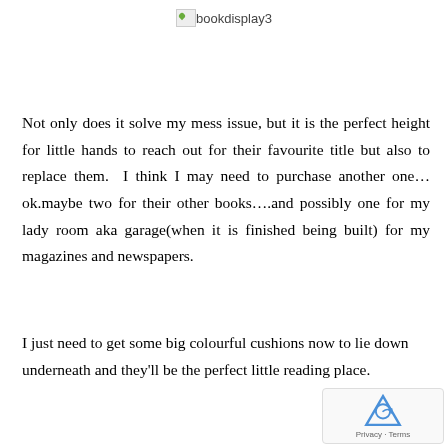[Figure (other): Broken image placeholder labeled 'bookdisplay3']
Not only does it solve my mess issue, but it is the perfect height for little hands to reach out for their favourite title but also to replace them.  I think I may need to purchase another one…ok.maybe two for their other books….and possibly one for my lady room aka garage(when it is finished being built) for my magazines and newspapers.
I just need to get some big colourful cushions now to lie down underneath and they'll be the perfect little reading place.
[Figure (logo): reCAPTCHA badge with Privacy and Terms links]